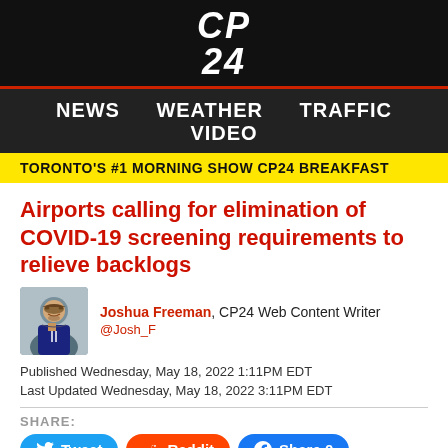[Figure (logo): CP24 logo in white italic bold text on black background]
NEWS  WEATHER  TRAFFIC  VIDEO
TORONTO'S #1 MORNING SHOW CP24 BREAKFAST
Airports calling for elimination of COVID-19 screening requirements to relieve backlogs
Joshua Freeman, CP24 Web Content Writer
@Josh_F
Published Wednesday, May 18, 2022 1:11PM EDT
Last Updated Wednesday, May 18, 2022 3:11PM EDT
SHARE:
Tweet  Reddit  Share 0
Canadian airports are calling on the federal government to further ease COVID-19-related screening requirements as they continue to deal with disruptive passenger backlogs.